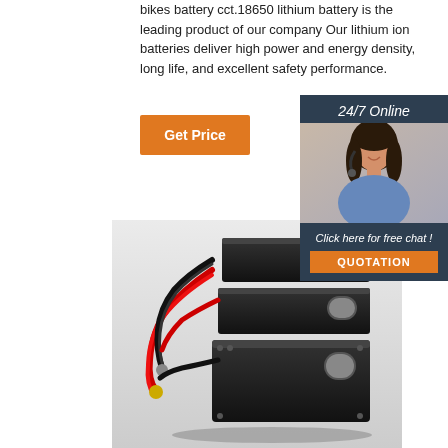bikes battery cct.18650 lithium battery is the leading product of our company Our lithium ion batteries deliver high power and energy density, long life, and excellent safety performance.
[Figure (infographic): Orange 'Get Price' button]
[Figure (photo): 24/7 Online customer service representative sidebar with headset-wearing woman, 'Click here for free chat!' text, and orange QUOTATION button]
[Figure (photo): Photo of a lithium battery pack consisting of three stacked black rectangular battery modules with red and black wiring connections]